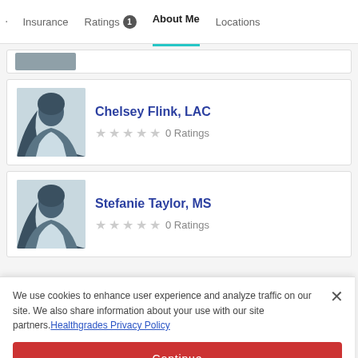Insurance  Ratings 1  About Me  Locations
[Figure (photo): Partial provider card at top, partially cropped]
[Figure (photo): Provider profile silhouette photo for Chelsey Flink, LAC]
Chelsey Flink, LAC
0 Ratings
[Figure (photo): Provider profile silhouette photo for Stefanie Taylor, MS]
Stefanie Taylor, MS
0 Ratings
We use cookies to enhance user experience and analyze traffic on our site. We also share information about your use with our site partners. Healthgrades Privacy Policy
Continue
Access my Privacy Preferences